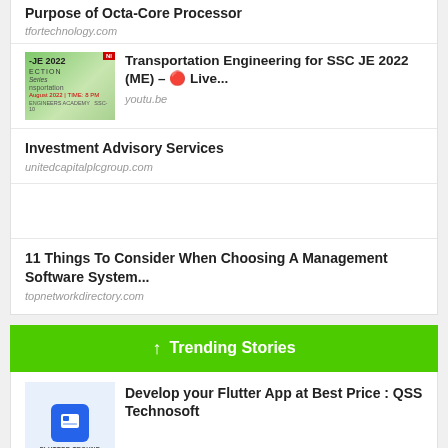Purpose of Octa-Core Processor
tfortechnology.com
[Figure (illustration): Thumbnail for Transportation Engineering for SSC JE 2022 with green background showing course details]
Transportation Engineering for SSC JE 2022 (ME) – 🔴 Live...
youtu.be
Investment Advisory Services
unitedcapitalplcgroup.com
11 Things To Consider When Choosing A Management Software System...
topnetworkdirectory.com
↑ Trending Stories
[Figure (illustration): Flutter app development thumbnail with blue folder icon and FLUTTER TECHNE label]
Develop your Flutter App at Best Price : QSS Technosoft